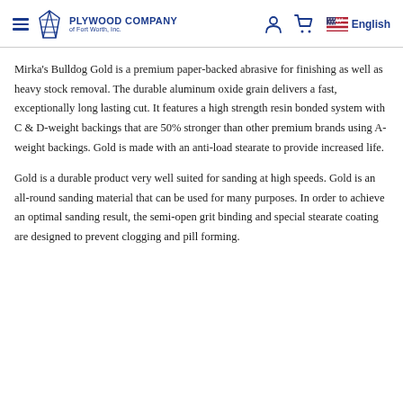PLYWOOD COMPANY of Fort Worth, Inc. | English
Mirka's Bulldog Gold is a premium paper-backed abrasive for finishing as well as heavy stock removal. The durable aluminum oxide grain delivers a fast, exceptionally long lasting cut. It features a high strength resin bonded system with C & D-weight backings that are 50% stronger than other premium brands using A-weight backings. Gold is made with an anti-load stearate to provide increased life.
Gold is a durable product very well suited for sanding at high speeds. Gold is an all-round sanding material that can be used for many purposes. In order to achieve an optimal sanding result, the semi-open grit binding and special stearate coating are designed to prevent clogging and pill forming.